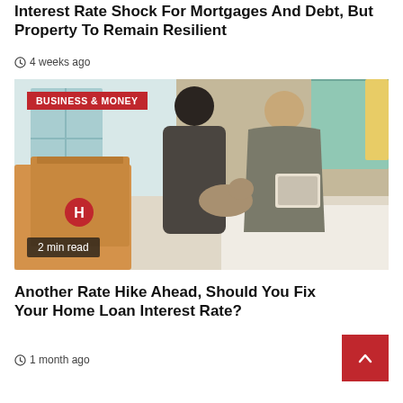Interest Rate Shock For Mortgages And Debt, But Property To Remain Resilient
4 weeks ago
[Figure (photo): A man and woman handling moving boxes and a cat in a bright room. A red 'BUSINESS & MONEY' badge is in the top-left corner, and '2 min read' label in bottom-left.]
Another Rate Hike Ahead, Should You Fix Your Home Loan Interest Rate?
1 month ago